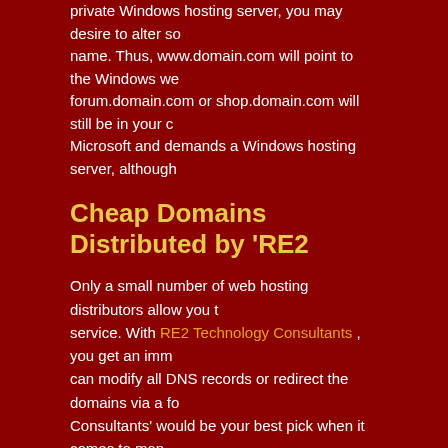private Windows hosting server, you may desire to alter some name. Thus, www.domain.com will point to the Windows we forum.domain.com or shop.domain.com will still be in your c Microsoft and demands a Windows hosting server, although
Cheap Domains Distributed by 'RE2
Only a small number of web hosting distributors allow you to service. With RE2 Technology Consultants , you get an imm can modify all DNS records or redirect the domains via a fo Consultants' would be your best pick when it comes to man World Wide Web.
Copyright © 2003-20